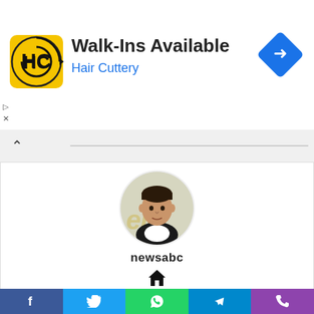[Figure (screenshot): Advertisement banner for Hair Cuttery salon - Walk-Ins Available, with yellow HC logo, blue subtitle, and blue navigation arrow icon on right]
[Figure (photo): Circular profile photo of a dark-haired man in a suit, with a watermark background]
newsabc
[Figure (infographic): Home icon below username]
[Figure (infographic): Email/mail envelope icon in lower section]
[Figure (infographic): Social share bar with Facebook, Twitter, WhatsApp, Telegram, Phone icons]